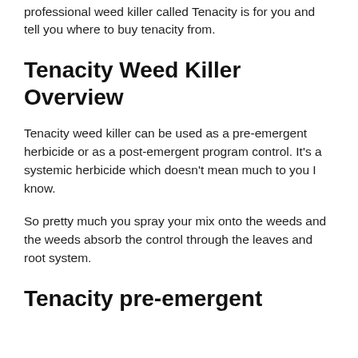professional weed killer called Tenacity is for you and tell you where to buy tenacity from.
Tenacity Weed Killer Overview
Tenacity weed killer can be used as a pre-emergent herbicide or as a post-emergent program control. It’s a systemic herbicide which doesn’t mean much to you I know.
So pretty much you spray your mix onto the weeds and the weeds absorb the control through the leaves and root system.
Tenacity pre-emergent